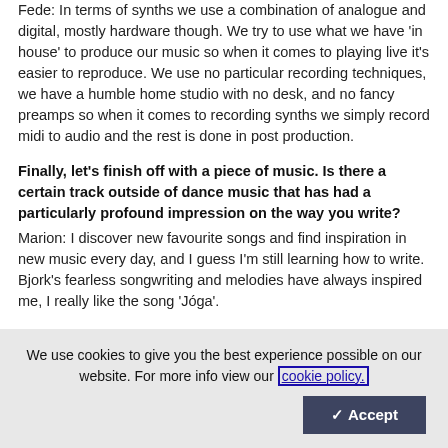Fede: In terms of synths we use a combination of analogue and digital, mostly hardware though. We try to use what we have 'in house' to produce our music so when it comes to playing live it's easier to reproduce. We use no particular recording techniques, we have a humble home studio with no desk, and no fancy preamps so when it comes to recording synths we simply record midi to audio and the rest is done in post production.
Finally, let's finish off with a piece of music. Is there a certain track outside of dance music that has had a particularly profound impression on the way you write?
Marion: I discover new favourite songs and find inspiration in new music every day, and I guess I'm still learning how to write. Bjork's fearless songwriting and melodies have always inspired me, I really like the song 'Jóga'.
We use cookies to give you the best experience possible on our website. For more info view our cookie policy.